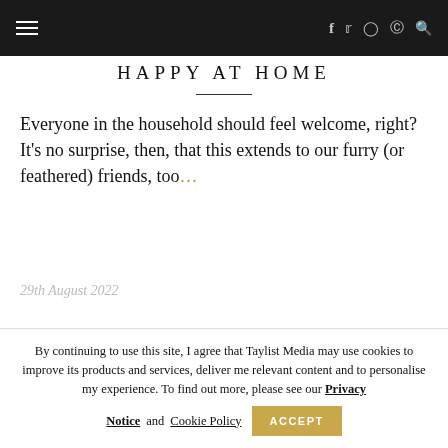HAPPY AT HOME
Everyone in the household should feel welcome, right? It's no surprise, then, that this extends to our furry (or feathered) friends, too…
29th August 2022
By continuing to use this site, I agree that Taylist Media may use cookies to improve its products and services, deliver me relevant content and to personalise my experience. To find out more, please see our Privacy Notice and Cookie Policy